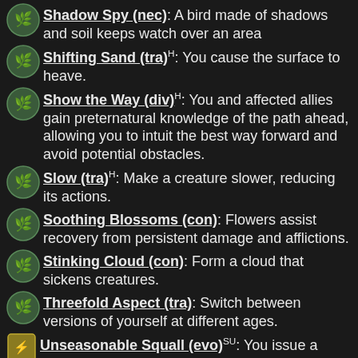Shadow Spy (nec): A bird made of shadows and soil keeps watch over an area
Shifting Sand (tra)H: You cause the surface to heave.
Show the Way (div)H: You and affected allies gain preternatural knowledge of the path ahead, allowing you to intuit the best way forward and avoid potential obstacles.
Slow (tra)H: Make a creature slower, reducing its actions.
Soothing Blossoms (con): Flowers assist recovery from persistent damage and afflictions.
Stinking Cloud (con): Form a cloud that sickens creatures.
Threefold Aspect (tra): Switch between versions of yourself at different ages.
Unseasonable Squall (evo)SU: You issue a blast of sudden wind that ripples outward from the center of the burst.
Wall of Radiance (evo)HSU: You form a wall of brilliant light that obscures creatures.